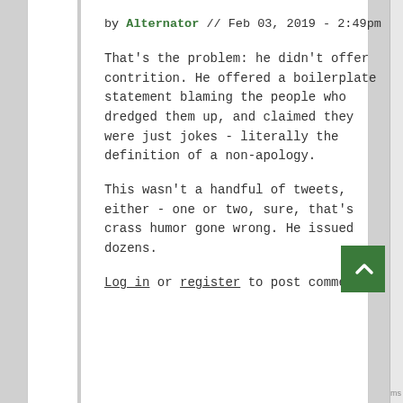by Alternator // Feb 03, 2019 - 2:49pm
That's the problem: he didn't offer contrition. He offered a boilerplate statement blaming the people who dredged them up, and claimed they were just jokes - literally the definition of a non-apology.
This wasn't a handful of tweets, either - one or two, sure, that's crass humor gone wrong. He issued dozens.
Log in or register to post comments